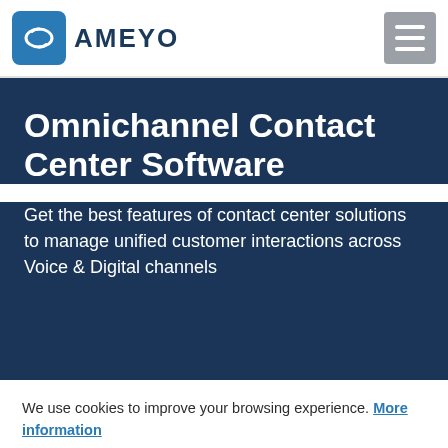AMEYO
Omnichannel Contact Center Software
Get the best features of contact center solutions to manage unified customer interactions across Voice & Digital channels
We use cookies to improve your browsing experience. More information
OK